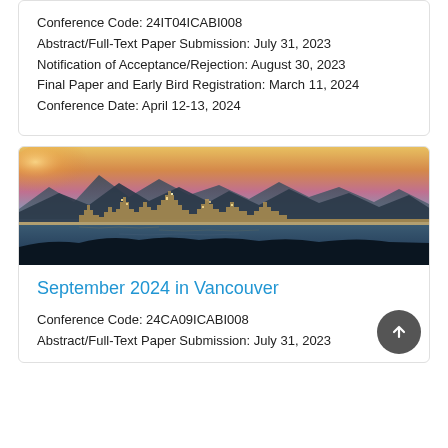Conference Code: 24IT04ICABI008
Abstract/Full-Text Paper Submission: July 31, 2023
Notification of Acceptance/Rejection: August 30, 2023
Final Paper and Early Bird Registration: March 11, 2024
Conference Date: April 12-13, 2024
[Figure (photo): Panoramic cityscape of Vancouver at sunset/dusk, with mountain range in background, city skyline with illuminated buildings, and water in foreground]
September 2024 in Vancouver
Conference Code: 24CA09ICABI008
Abstract/Full-Text Paper Submission: July 31, 2023